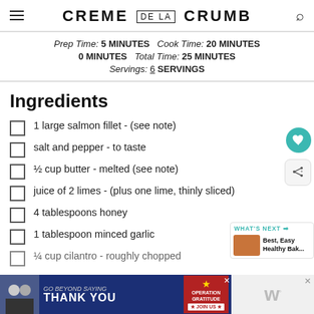CREME DE LA CRUMB
Prep Time: 5 MINUTES   Cook Time: 20 MINUTES   0 MINUTES   Total Time: 25 MINUTES   Servings: 6 SERVINGS
Ingredients
1 large salmon fillet - (see note)
salt and pepper - to taste
½ cup butter - melted (see note)
juice of 2 limes - (plus one lime, thinly sliced)
4 tablespoons honey
1 tablespoon minced garlic
¼ cup cilantro - roughly chopped